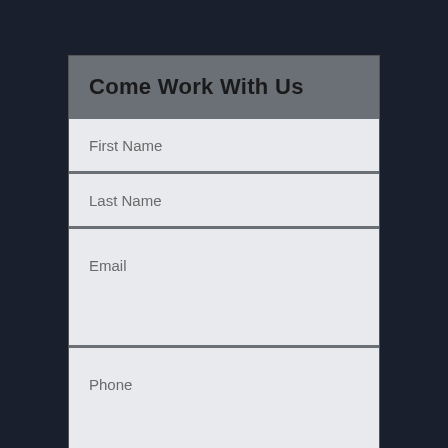Come Work With Us
First Name
Last Name
Email
Phone
Select Position